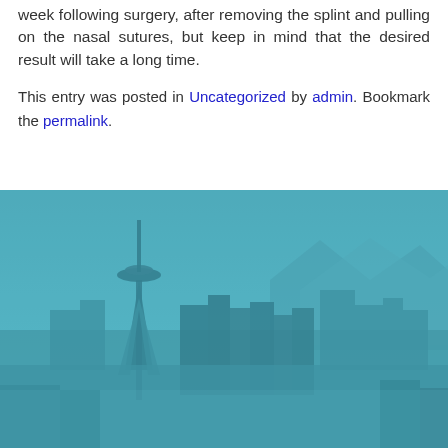week following surgery, after removing the splint and pulling on the nasal sutures, but keep in mind that the desired result will take a long time.
This entry was posted in Uncategorized by admin. Bookmark the permalink.
[Figure (photo): A teal/cyan-tinted cityscape photo of Seattle skyline featuring the Space Needle prominently, with downtown skyscrapers and mountains in the background, rendered with a blue-teal color overlay.]